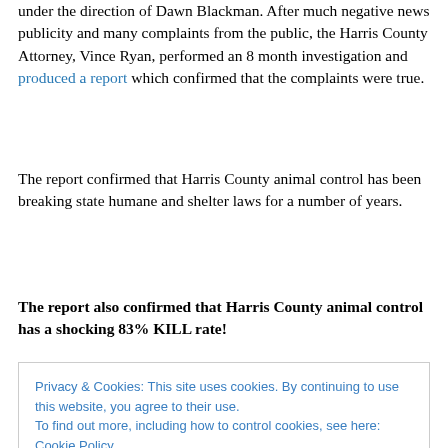under the direction of Dawn Blackman. After much negative news publicity and many complaints from the public, the Harris County Attorney, Vince Ryan, performed an 8 month investigation and produced a report which confirmed that the complaints were true.
The report confirmed that Harris County animal control has been breaking state humane and shelter laws for a number of years.
The report also confirmed that Harris County animal control has a shocking 83% KILL rate!
Privacy & Cookies: This site uses cookies. By continuing to use this website, you agree to their use.
To find out more, including how to control cookies, see here: Cookie Policy
Close and accept